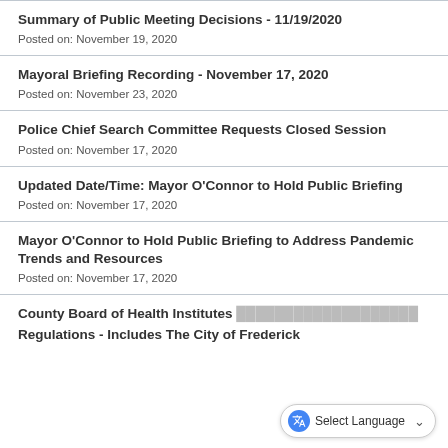Summary of Public Meeting Decisions - 11/19/2020
Posted on: November 19, 2020
Mayoral Briefing Recording - November 17, 2020
Posted on: November 23, 2020
Police Chief Search Committee Requests Closed Session
Posted on: November 17, 2020
Updated Date/Time: Mayor O'Connor to Hold Public Briefing
Posted on: November 17, 2020
Mayor O'Connor to Hold Public Briefing to Address Pandemic Trends and Resources
Posted on: November 17, 2020
County Board of Health Institutes Regulations - Includes The City of Frederick